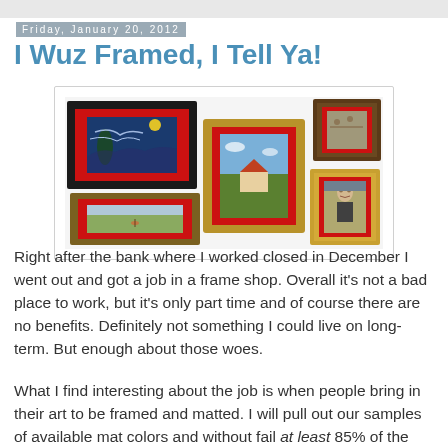Friday, January 20, 2012
I Wuz Framed, I Tell Ya!
[Figure (photo): Collection of five framed artworks displayed on a white background. Each painting has a red mat and a decorative frame. Top left: Starry Night by Van Gogh in a black frame. Center: a landscape painting in a gold frame. Top right: a battle scene in an ornate dark frame. Bottom left: a girl in a field (Christina's World style) in a dark gold frame. Bottom right: Mona Lisa in an ornate gold frame.]
Right after the bank where I worked closed in December I went out and got a job in a frame shop. Overall it’s not a bad place to work, but it’s only part time and of course there are no benefits. Definitely not something I could live on long-term. But enough about those woes.
What I find interesting about the job is when people bring in their art to be framed and matted. I will pull out our samples of available mat colors and without fail at least 85% of the